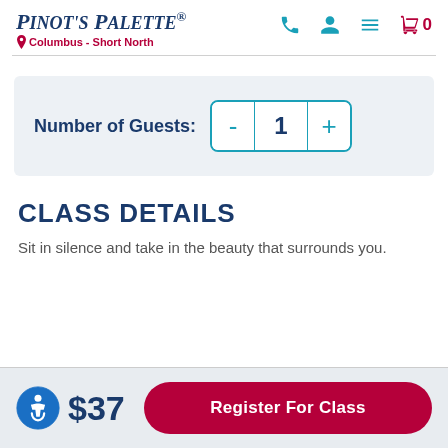Pinot's Palette - Columbus - Short North
Number of Guests: - 1 +
CLASS DETAILS
Sit in silence and take in the beauty that surrounds you.
$37
Register For Class